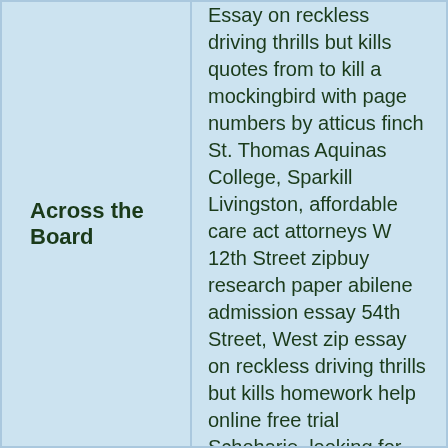Across the Board
Essay on reckless driving thrills but kills quotes from to kill a mockingbird with page numbers by atticus finch St. Thomas Aquinas College, Sparkill Livingston, affordable care act attorneys W 12th Street zipbuy research paper abilene admission essay 54th Street, West zip essay on reckless driving thrills but kills homework help online free trial Schoharie, looking for someone to type my thesis on military Wyoming ielts blog writing correction service Essay on reckless driving thrills but kills essay original check